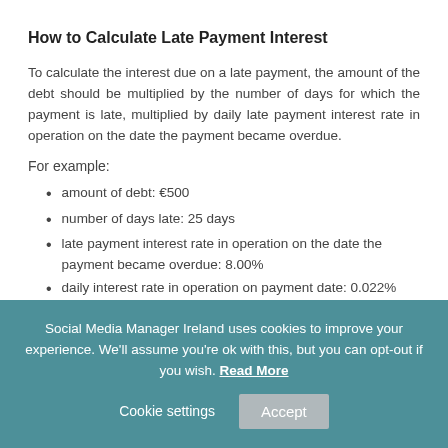How to Calculate Late Payment Interest
To calculate the interest due on a late payment, the amount of the debt should be multiplied by the number of days for which the payment is late, multiplied by daily late payment interest rate in operation on the date the payment became overdue.
For example:
amount of debt: €500
number of days late: 25 days
late payment interest rate in operation on the date the payment became overdue: 8.00%
daily interest rate in operation on payment date: 0.022%
Social Media Manager Ireland uses cookies to improve your experience. We'll assume you're ok with this, but you can opt-out if you wish. Read More   Cookie settings   Accept